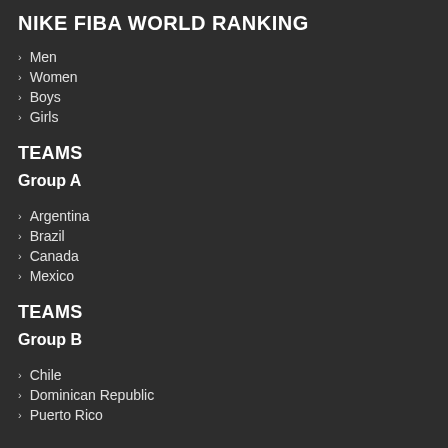NIKE FIBA WORLD RANKING
Men
Women
Boys
Girls
TEAMS
Group A
Argentina
Brazil
Canada
Mexico
TEAMS
Group B
Chile
Dominican Republic
Puerto Rico